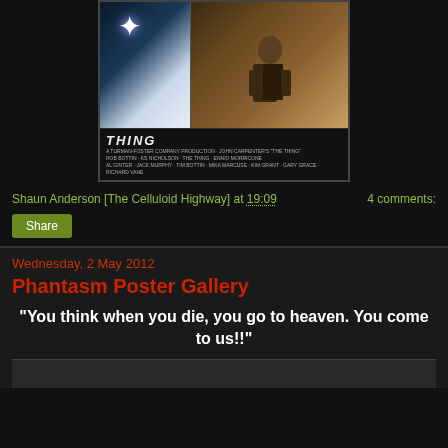[Figure (photo): Movie poster for John Carpenter's 'The Thing' showing a stylized figure with light burst and a man with equipment]
Shaun Anderson [The Celluloid Highway] at 19:09    4 comments:
Share
Wednesday, 2 May 2012
Phantasm Poster Gallery
"You think when you die, you go to heaven. You come to us!!"
[Figure (photo): Partial image at bottom of page, dark]